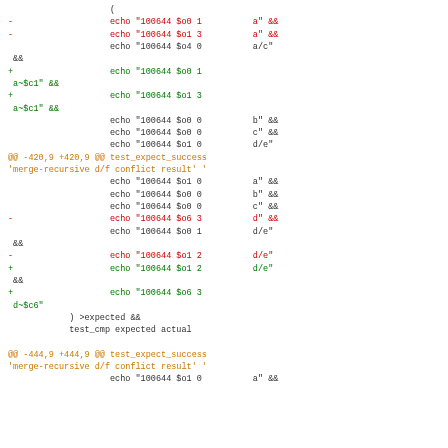Code diff showing git merge-recursive conflict result lines with echo statements, removed and added lines, and hunk headers.